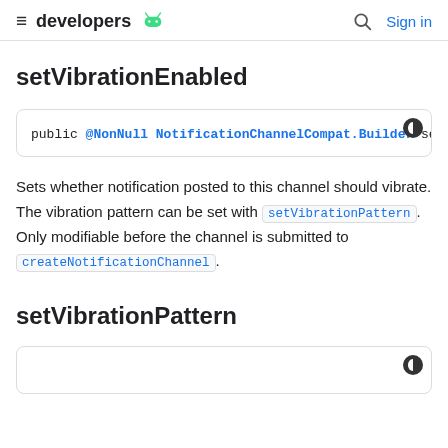developers [android logo] | Search | Sign in
setVibrationEnabled
public @NonNull NotificationChannelCompat.Builder se
Sets whether notification posted to this channel should vibrate. The vibration pattern can be set with setVibrationPattern. Only modifiable before the channel is submitted to createNotificationChannel.
setVibrationPattern